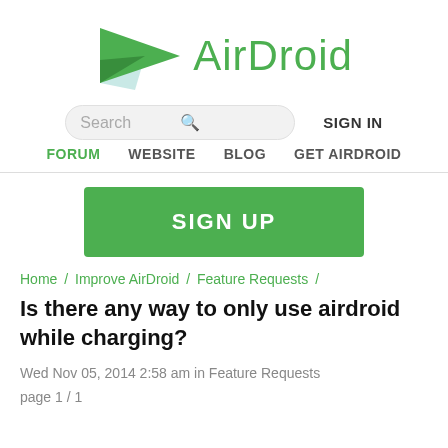[Figure (logo): AirDroid logo: green paper plane icon on the left and green text 'AirDroid' on the right]
Search   SIGN IN
FORUM   WEBSITE   BLOG   GET AIRDROID
SIGN UP
Home / Improve AirDroid / Feature Requests /
Is there any way to only use airdroid while charging?
Wed Nov 05, 2014 2:58 am in Feature Requests
page 1 / 1